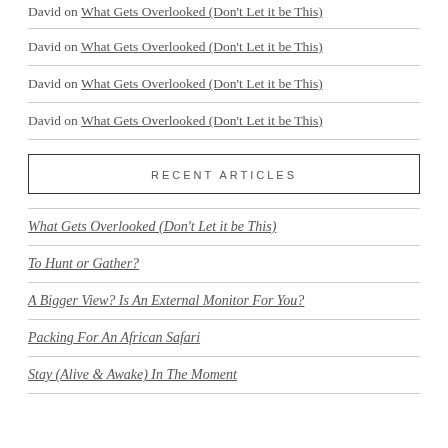David on What Gets Overlooked (Don't Let it be This)
David on What Gets Overlooked (Don't Let it be This)
David on What Gets Overlooked (Don't Let it be This)
David on What Gets Overlooked (Don't Let it be This)
RECENT ARTICLES
What Gets Overlooked (Don't Let it be This)
To Hunt or Gather?
A Bigger View? Is An External Monitor For You?
Packing For An African Safari
Stay (Alive & Awake) In The Moment